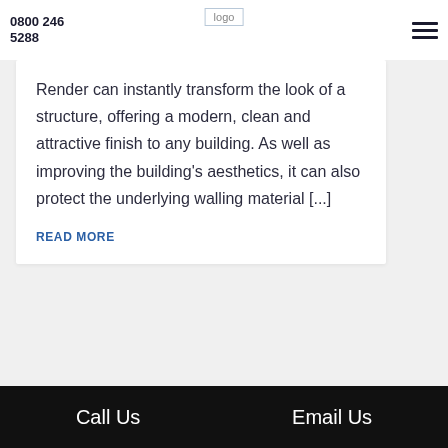0800 246 5288
[Figure (logo): Company logo placeholder]
Render can instantly transform the look of a structure, offering a modern, clean and attractive finish to any building. As well as improving the building's aesthetics, it can also protect the underlying walling material [...]
READ MORE
Call Us   Email Us